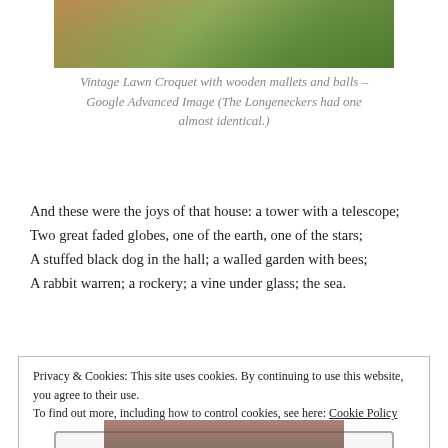[Figure (photo): Partial view of vintage lawn croquet set with wooden mallets and balls, photographed outdoors with green foliage background]
Vintage Lawn Croquet with wooden mallets and balls – Google Advanced Image (The Longeneckers had one almost identical.)
And these were the joys of that house: a tower with a telescope;
Two great faded globes, one of the earth, one of the stars;
A stuffed black dog in the hall; a walled garden with bees;
A rabbit warren; a rockery; a vine under glass; the sea.
Privacy & Cookies: This site uses cookies. By continuing to use this website, you agree to their use.
To find out more, including how to control cookies, see here: Cookie Policy
Close and accept
[Figure (photo): Partial view of another image at the bottom of the page]